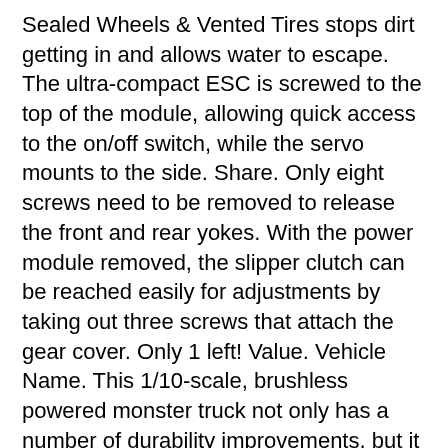Sealed Wheels & Vented Tires stops dirt getting in and allows water to escape. The ultra-compact ESC is screwed to the top of the module, allowing quick access to the on/off switch, while the servo mounts to the side. Share. Only eight screws need to be removed to release the front and rear yokes. With the power module removed, the slipper clutch can be reached easily for adjustments by taking out three screws that attach the gear cover. Only 1 left! Value. Vehicle Name. This 1/10-scale, brushless powered monster truck not only has a number of durability improvements, but it also features a wider stance for better control and stability. Arrma Big Rock 4X4 V3 3S BLX 1/10 RTR Brushless Monster Truck (Black) w/Spektrum SLT3 2.4GHz Radio. ARRMA ARRMA ARA4312V3 1/10 BIG ROCK 4X4 V3 3S BLX Brushless Monster Truck RTR Black (No reviews yet) Write a Review ... ARRMA® BIG ROCK™ 4X4 3S BLX 1/10 Scale 4WD Electric Monster Truck RTR BLX100 2S/3S Waterproof* ESC (1) Spektrum™ Firma™ 3660 3200Kv Brushless Motor (1) Spektrum™ 2.4GHz SLT3™ 3-